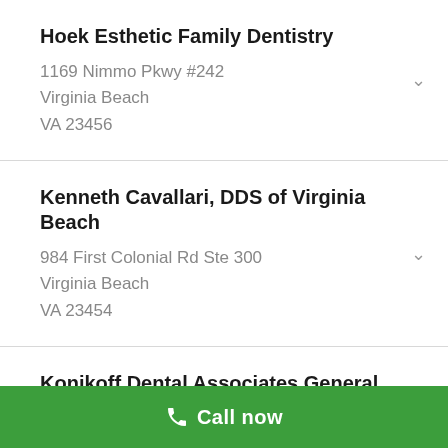Hoek Esthetic Family Dentistry
1169 Nimmo Pkwy #242
Virginia Beach
VA 23456
Kenneth Cavallari, DDS of Virginia Beach
984 First Colonial Rd Ste 300
Virginia Beach
VA 23454
Konikoff Dental Associates General Booth
2301 General Booth Blvd Ste A
Virginia Beach
Call now